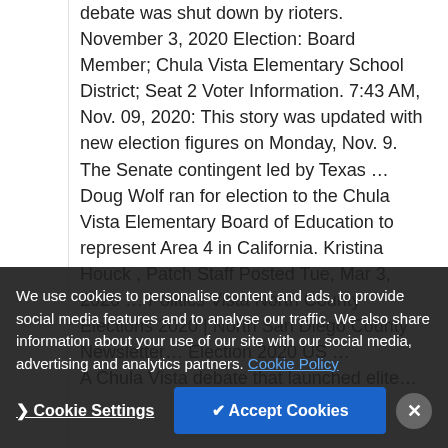debate was shut down by rioters. November 3, 2020 Election: Board Member; Chula Vista Elementary School District; Seat 2 Voter Information. 7:43 AM, Nov. 09, 2020: This story was updated with new election figures on Monday, Nov. 9. The Senate contingent led by Texas ... Doug Wolf ran for election to the Chula Vista Elementary Board of Education to represent Area 4 in California. Kristina Houck , Patch Staff Posted Tue, Mar 3, 2020 ... Politics Vista North County Elections 2020 | North San Diego County Newsletter ... Election 2020 US ... A Chula Vista debate that launched elite...
We use cookies to personalise content and ads, to provide social media features and to analyse our traffic. We also share information about your use of our site with our social media, advertising and analytics partners. Cookie Policy
Padilla declared victory over retired Navy veteran ... Nasser Martinez ... District 3 election. Here is all you need to know